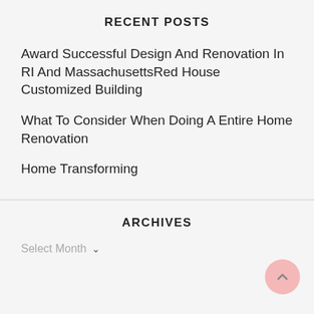RECENT POSTS
Award Successful Design And Renovation In RI And MassachusettsRed House Customized Building
What To Consider When Doing A Entire Home Renovation
Home Transforming
ARCHIVES
Select Month